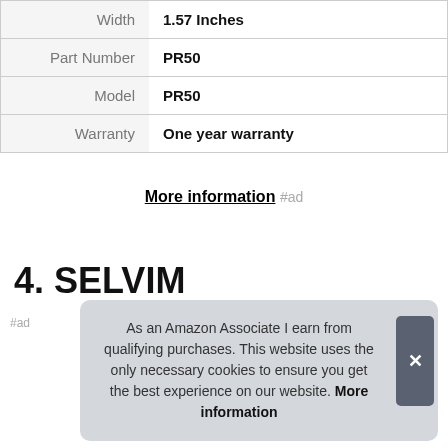| Attribute | Value |
| --- | --- |
| Width | 1.57 Inches |
| Part Number | PR50 |
| Model | PR50 |
| Warranty | One year warranty |
More information #ad
4. SELVIM
As an Amazon Associate I earn from qualifying purchases. This website uses the only necessary cookies to ensure you get the best experience on our website. More information